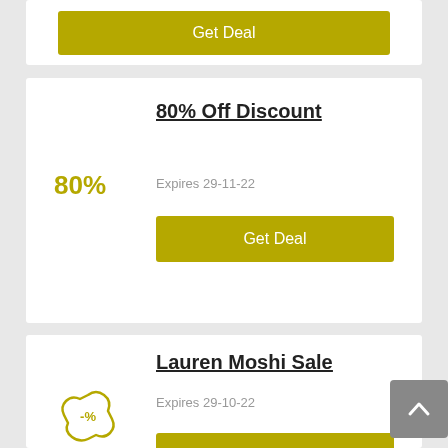Get Deal
80% Off Discount
80%
Expires 29-11-22
Get Deal
Lauren Moshi Sale
[Figure (illustration): Discount tag icon with -% symbol in olive/yellow color]
Expires 29-10-22
Get Deal